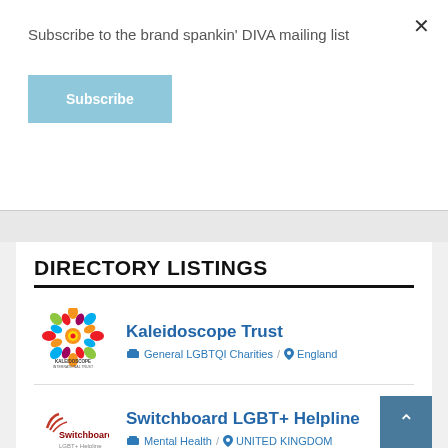Subscribe to the brand spankin' DIVA mailing list
Subscribe
DIRECTORY LISTINGS
Kaleidoscope Trust
General LGBTQI Charities / England
Switchboard LGBT+ Helpline
Mental Health / UNITED KINGDOM
LGBT HEALTH AND WELLBEING
Health Charities / Scotland